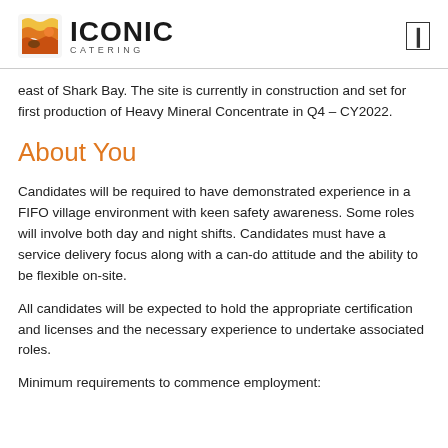ICONIC CATERING
east of Shark Bay. The site is currently in construction and set for first production of Heavy Mineral Concentrate in Q4 – CY2022.
About You
Candidates will be required to have demonstrated experience in a FIFO village environment with keen safety awareness. Some roles will involve both day and night shifts. Candidates must have a service delivery focus along with a can-do attitude and the ability to be flexible on-site.
All candidates will be expected to hold the appropriate certification and licenses and the necessary experience to undertake associated roles.
Minimum requirements to commence employment: